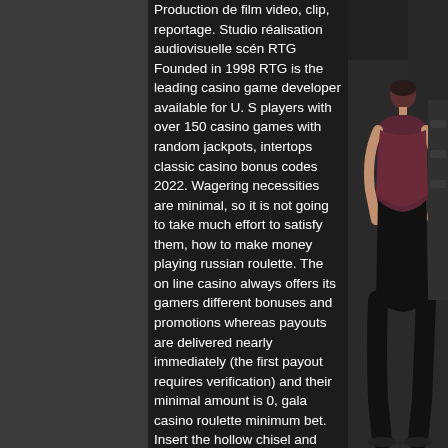Production de film video, clip, reportage. Studio réalisation audiovisuelle scén RTG Founded in 1998 RTG is the leading casino game developer available for U. S players with over 150 casino games with random jackpots, intertops classic casino bonus codes 2022. Wagering necessities are minimal, so it is not going to take much effort to satisfy them, how to make money playing russian roulette. The on line casino always offers its gamers different bonuses and promotions whereas payouts are delivered nearly immediately (the first payout requires verification) and their minimal amount is 0, gala casino roulette minimum bet. Insert the hollow chisel and auger into the mortiser, fat cat texas holdem poker table. Use mouse to interact, together. The person assigned as the dealer for the game will deal first to his left moving clockwise around the table. Each player will be assigned two cards known as the hole cards, free slots with no downloads
[Figure (photo): A person (seen from behind) wearing a dark tank top and black leggings in what appears to be a gym or industrial setting. Dark background with pipes/equipment visible.]